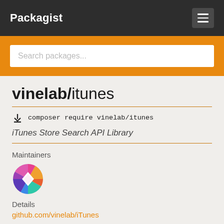Packagist
Search packages...
vinelab/itunes
composer require vinelab/itunes
iTunes Store Search API Library
Maintainers
[Figure (illustration): Circular maintainer avatar with colorful gradient segments and a white diamond shape in the center]
Details
github.com/vinelab/iTunes